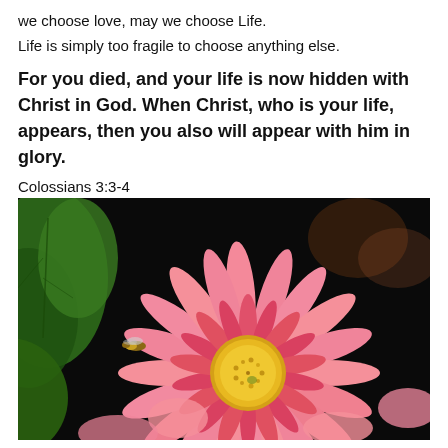we choose love, may we choose Life.
Life is simply too fragile to choose anything else.
For you died, and your life is now hidden with Christ in God. When Christ, who is your life, appears, then you also will appear with him in glory.
Colossians 3:3-4
[Figure (photo): Close-up photograph of a pink gerbera daisy flower with a yellow center, with a bee visible on the left petal, and green foliage in the background.]